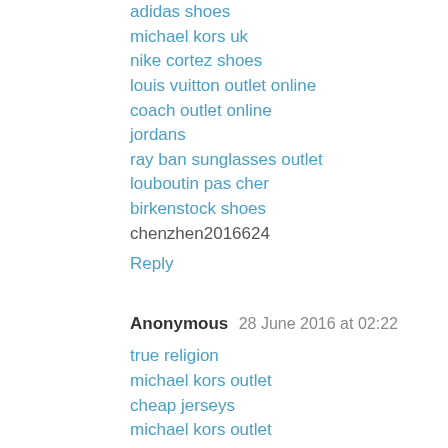adidas shoes
michael kors uk
nike cortez shoes
louis vuitton outlet online
coach outlet online
jordans
ray ban sunglasses outlet
louboutin pas cher
birkenstock shoes
chenzhen2016624
Reply
Anonymous  28 June 2016 at 02:22
true religion
michael kors outlet
cheap jerseys
michael kors outlet
ralph lauren outlet
louis vuitton outlet
michael kors outlet
kobe bryant shoes